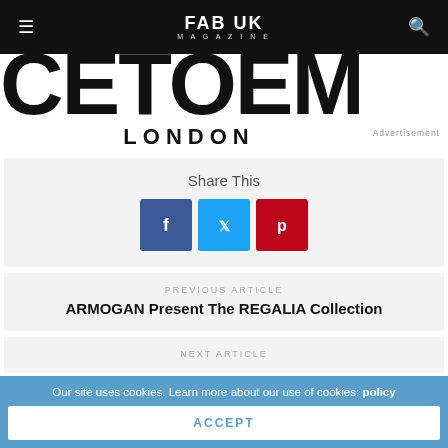FAB UK MAGAZINE
[Figure (logo): Partial large brand name letters CE-POEM in black on white, with LONDON below]
Advertisement
Share This
[Figure (infographic): Three social share buttons: Facebook (blue), Twitter (light blue), Pinterest (red)]
PREVIOUS ARTICLE
ARMOGAN Present The REGALIA Collection
NEXT ARTICLE
Our site uses cookies. Learn more about our use of cookies: policy
ACCEPT